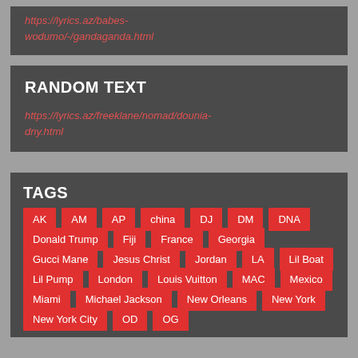https://lyrics.az/babes-wodumo/-/gandaganda.html
RANDOM TEXT
https://lyrics.az/freeklane/nomad/dounia-dny.html
TAGS
AK
AM
AP
china
DJ
DM
DNA
Donald Trump
Fiji
France
Georgia
Gucci Mane
Jesus Christ
Jordan
LA
Lil Boat
Lil Pump
London
Louis Vuitton
MAC
Mexico
Miami
Michael Jackson
New Orleans
New York
New York City
OD
OG